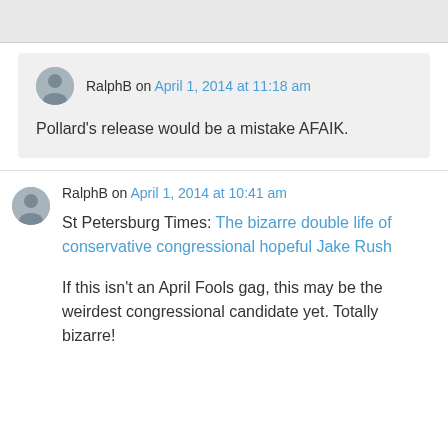RalphB on April 1, 2014 at 11:18 am
Pollard's release would be a mistake AFAIK.
RalphB on April 1, 2014 at 10:41 am
St Petersburg Times: The bizarre double life of conservative congressional hopeful Jake Rush
If this isn't an April Fools gag, this may be the weirdest congressional candidate yet. Totally bizarre!